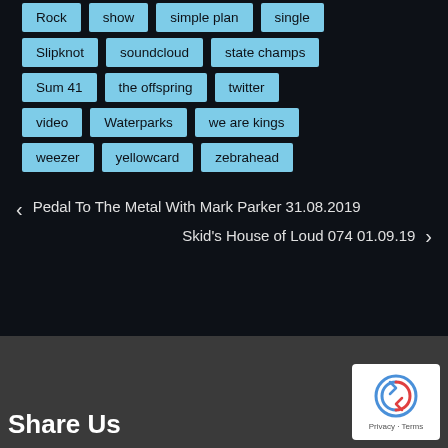Rock | show | simple plan | single
Slipknot | soundcloud | state champs
Sum 41 | the offspring | twitter
video | Waterparks | we are kings
weezer | yellowcard | zebrahead
< Pedal To The Metal With Mark Parker 31.08.2019
Skid's House of Loud 074 01.09.19 >
Share Us